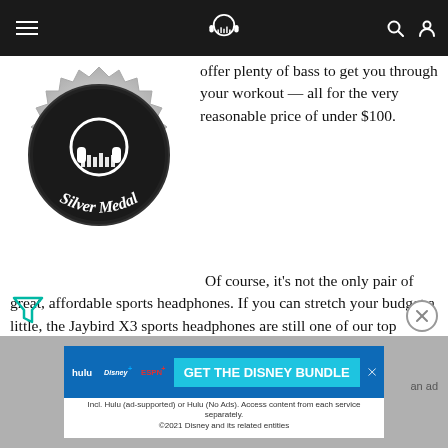Headphone Review website header with hamburger menu, logo, search and user icons
[Figure (illustration): Silver Medal award badge with headphone icon in center and 'Silver Medal' text on ribbon]
offer plenty of bass to get you through your workout — all for the very reasonable price of under $100.
Of course, it's not the only pair of great, affordable sports headphones. If you can stretch your budget a little, the Jaybird X3 sports headphones are still one of our top choices, and they come at $130.
If, however, your budget remains under the $100 range, along with the likes of the JLab Audio Epic Sport Wireless, these are perhaps the best choice for you. So much so that we've awarded them the Headphone Review Silver Medal.
[Figure (infographic): Disney Bundle advertisement banner: Hulu, Disney+, ESPN+ logos with 'GET THE DISNEY BUNDLE' button. Includes disclaimer text about ad-supported options and 2021 Disney copyright.]